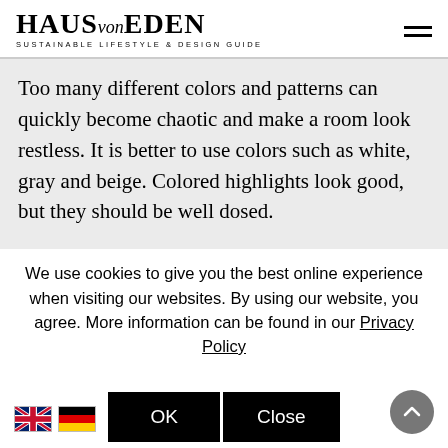HAUS von EDEN — SUSTAINABLE LIFESTYLE & DESIGN GUIDE
Too many different colors and patterns can quickly become chaotic and make a room look restless. It is better to use colors such as white, gray and beige. Colored highlights look good, but they should be well dosed.
We use cookies to give you the best online experience when visiting our websites. By using our website, you agree. More information can be found in our Privacy Policy
OK   Close